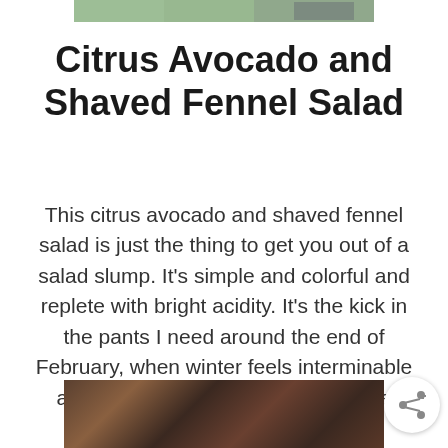[Figure (photo): Top portion of a food photo showing a salad with greens and a fork, cropped at the top of the page]
Citrus Avocado and Shaved Fennel Salad
This citrus avocado and shaved fennel salad is just the thing to get you out of a salad slump. It's simple and colorful and replete with bright acidity. It's the kick in the pants I need around the end of February, when winter feels interminable and I crave something that feels like sunshine on a …
[Figure (other): Red READ MORE button]
[Figure (other): Share icon button — circular white button with a share/network icon]
[Figure (photo): Bottom portion of a food photo, dark blurred background, cropped at the bottom of the page]